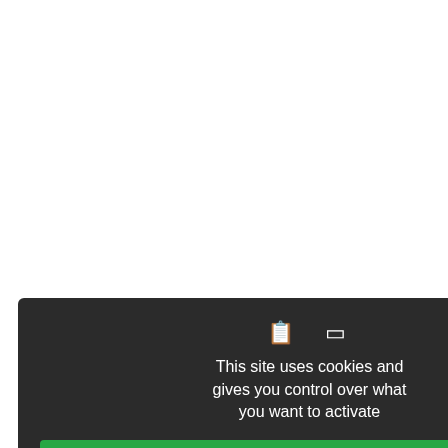challenges may be resolved through… 'green' products would lead supplier… Hence, as suggested by Nappi-Cho… literature [that] aims at measuring the… investors and landlords" (see notably… 2009, Eichholtz et al. 2010, Miller et… In their review of recent empirical wo… Choulet and Décamps (2011: 3) argu… of "sustainable certification" on pro… qualified given "the very preliminary… green value may be explained by in… ains for tenants, and reduced risk… Choulet and Décamps 2011: 3-4)…. approach where investment decision…

Conversely, we argue that the analy… buildings cannot be restricted to exc… elation to legal or functional obsole… investment firms and processes tha… nd social demands through their da… ow the black box of investment, o… Henneberry 2007). This approach… decision-making as a linear process… roperty owners do not merely asses… mirrored in their calculations, but th… ndependent logic regarding the inv…
[Figure (screenshot): Cookie consent modal dialog with dark background (#2b2b2b). Shows icons of a hand/thumb and a rectangle at top, text 'This site uses cookies and gives you control over what you want to activate', a green 'OK, accept all' button, a red 'Deny all cookies' button, a white 'Personalize' button, and a 'Privacy policy' link.]